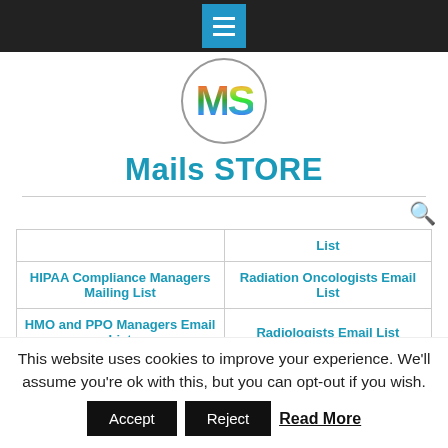[Figure (logo): Navigation bar with hamburger menu icon (three horizontal white lines on blue square background) on dark/black bar at top]
[Figure (logo): Circular logo with rainbow-colored 'MS' letters]
Mails STORE
|  | List |
| --- | --- |
| HIPAA Compliance Managers Mailing List | Radiation Oncologists Email List |
| HMO and PPO Managers Email List | Radiologists Email List |
This website uses cookies to improve your experience. We'll assume you're ok with this, but you can opt-out if you wish.
Accept   Reject   Read More